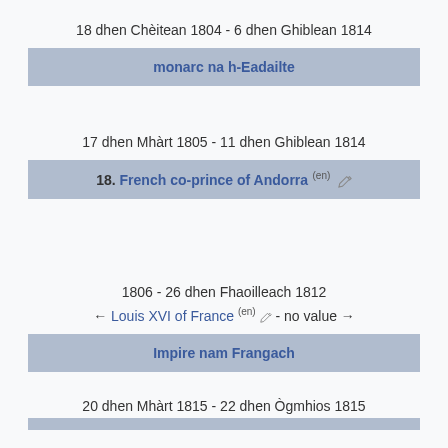18 dhen Chèitean 1804 - 6 dhen Ghiblean 1814
| monarc na h-Eadailte |
17 dhen Mhàrt 1805 - 11 dhen Ghiblean 1814
| 18. French co-prince of Andorra (en) ◇ |
1806 - 26 dhen Fhaoilleach 1812
← Louis XVI of France (en) ◇ - no value →
| Impire nam Frangach |
20 dhen Mhàrt 1815 - 22 dhen Ògmhios 1815